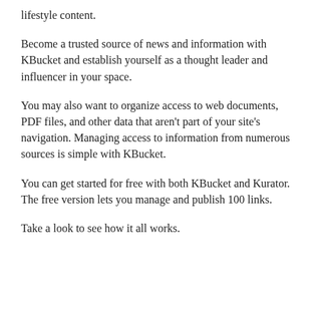lifestyle content.
Become a trusted source of news and information with KBucket and establish yourself as a thought leader and influencer in your space.
You may also want to organize access to web documents, PDF files, and other data that aren't part of your site's navigation. Managing access to information from numerous sources is simple with KBucket.
You can get started for free with both KBucket and Kurator. The free version lets you manage and publish 100 links.
Take a look to see how it all works.